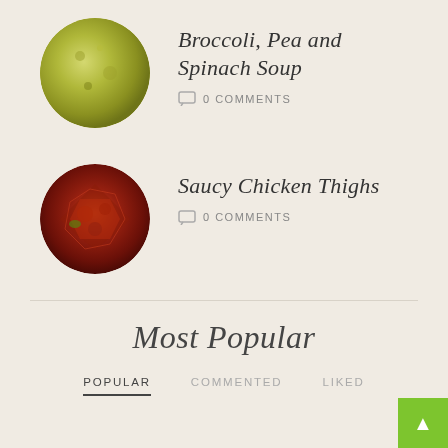[Figure (photo): Circular photo of green broccoli pea and spinach soup in a bowl]
Broccoli, Pea and Spinach Soup
0 COMMENTS
[Figure (photo): Circular photo of saucy chicken thighs dish]
Saucy Chicken Thighs
0 COMMENTS
Most Popular
POPULAR   COMMENTED   LIKED